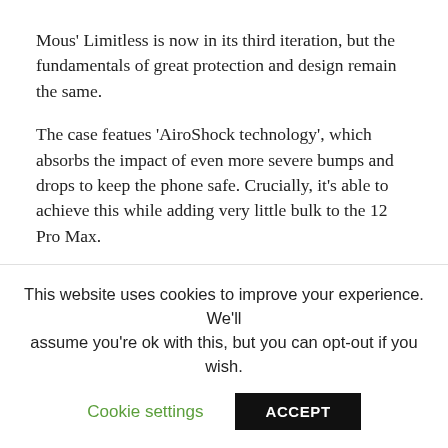Mous' Limitless is now in its third iteration, but the fundamentals of great protection and design remain the same.
The case featues 'AiroShock technology', which absorbs the impact of even more severe bumps and drops to keep the phone safe. Crucially, it's able to achieve this while adding very little bulk to the 12 Pro Max.
There's a variety of material effects to choose from, including the Aramid Fibre pictured, and the option to connect a wrist strap for hands-free usage.
Mous has specifically stated that the case is compatible with MagSafe. You can buy it now for £44.99/US$62.99.
This website uses cookies to improve your experience. We'll assume you're ok with this, but you can opt-out if you wish.
Cookie settings  ACCEPT